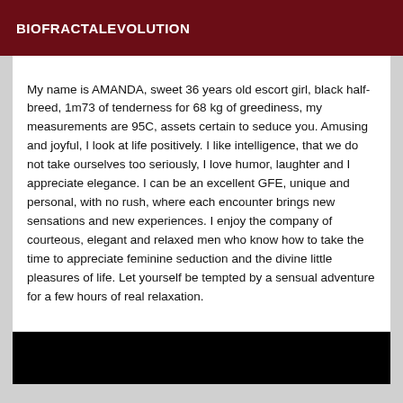BIOFRACTALEVOLUTION
My name is AMANDA, sweet 36 years old escort girl, black half-breed, 1m73 of tenderness for 68 kg of greediness, my measurements are 95C, assets certain to seduce you. Amusing and joyful, I look at life positively. I like intelligence, that we do not take ourselves too seriously, I love humor, laughter and I appreciate elegance. I can be an excellent GFE, unique and personal, with no rush, where each encounter brings new sensations and new experiences. I enjoy the company of courteous, elegant and relaxed men who know how to take the time to appreciate feminine seduction and the divine little pleasures of life. Let yourself be tempted by a sensual adventure for a few hours of real relaxation.
[Figure (photo): Black image panel at the bottom of the page]